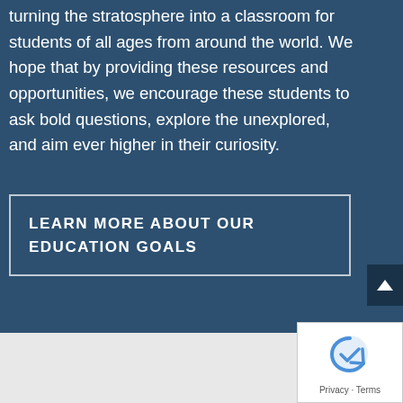turning the stratosphere into a classroom for students of all ages from around the world. We hope that by providing these resources and opportunities, we encourage these students to ask bold questions, explore the unexplored, and aim ever higher in their curiosity.
LEARN MORE ABOUT OUR EDUCATION GOALS